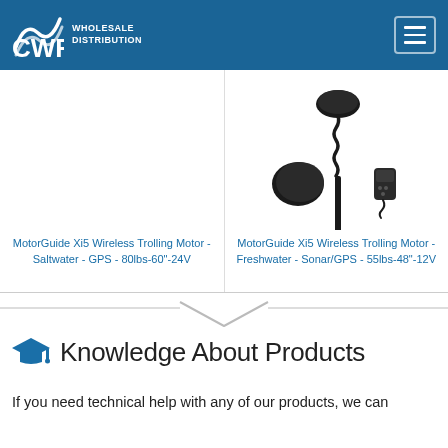[Figure (logo): CWR Wholesale Distribution logo on dark blue header background with hamburger menu button]
[Figure (photo): MotorGuide Xi5 Wireless Trolling Motor - Saltwater - GPS - 80lbs-60"-24V product image (left column, blank/no image visible)]
MotorGuide Xi5 Wireless Trolling Motor - Saltwater - GPS - 80lbs-60"-24V
[Figure (photo): MotorGuide Xi5 Wireless Trolling Motor - Freshwater - Sonar/GPS - 55lbs-48"-12V product image showing trolling motor with accessories]
MotorGuide Xi5 Wireless Trolling Motor - Freshwater - Sonar/GPS - 55lbs-48"-12V
Knowledge About Products
If you need technical help with any of our products, we can